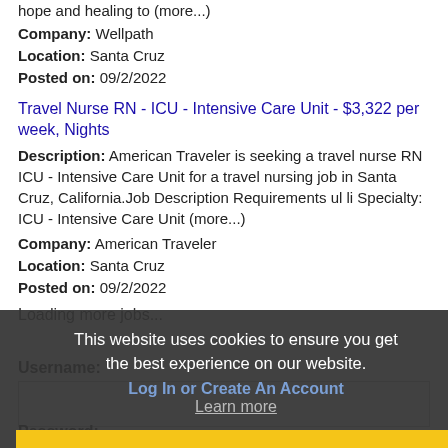hope and healing to (more...)
Company: Wellpath
Location: Santa Cruz
Posted on: 09/2/2022
Travel Nurse RN - ICU - Intensive Care Unit - $3,322 per week, Nights
Description: American Traveler is seeking a travel nurse RN ICU - Intensive Care Unit for a travel nursing job in Santa Cruz, California.Job Description Requirements ul li Specialty: ICU - Intensive Care Unit (more...)
Company: American Traveler
Location: Santa Cruz
Posted on: 09/2/2022
Loading more jobs...
This website uses cookies to ensure you get the best experience on our website.
Log In or Create An Account
Learn more
Got it!
Username:
Password: